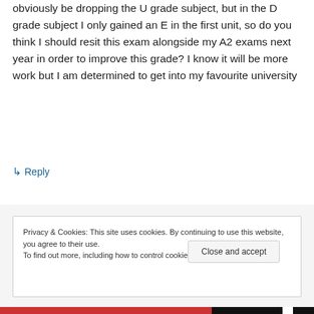obviously be dropping the U grade subject, but in the D grade subject I only gained an E in the first unit, so do you think I should resit this exam alongside my A2 exams next year in order to improve this grade? I know it will be more work but I am determined to get into my favourite university
↳ Reply
Privacy & Cookies: This site uses cookies. By continuing to use this website, you agree to their use.
To find out more, including how to control cookies, see here: Cookie Policy